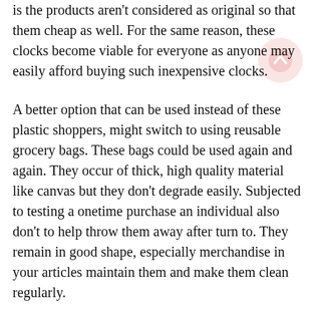is the products aren't considered as original so that them cheap as well. For the same reason, these clocks become viable for everyone as anyone may easily afford buying such inexpensive clocks.
A better option that can be used instead of these plastic shoppers, might switch to using reusable grocery bags. These bags could be used again and again. They occur of thick, high quality material like canvas but they don't degrade easily. Subjected to testing a onetime purchase an individual also don't to help throw them away after turn to. They remain in good shape, especially merchandise in your articles maintain them and make them clean regularly.
As stated earlier, climbing shoes are certainly critical to your safety. Hence, you can invest your energy in searching for right footwear types. If you plan to engage in an uneven path, then pick your shoes keeping that at heart. If you have picked a route